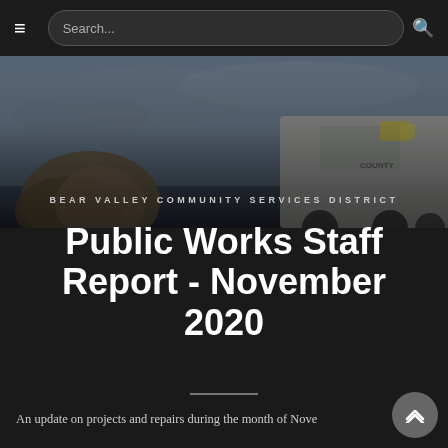Search...
[Figure (photo): Hero image showing a utility truck and rocky landscape with overcast sky, overlaid with dark tint]
BEAR VALLEY COMMUNITY SERVICES DISTRICT
Public Works Staff Report - November 2020
An update on projects and repairs during the month of Nove...